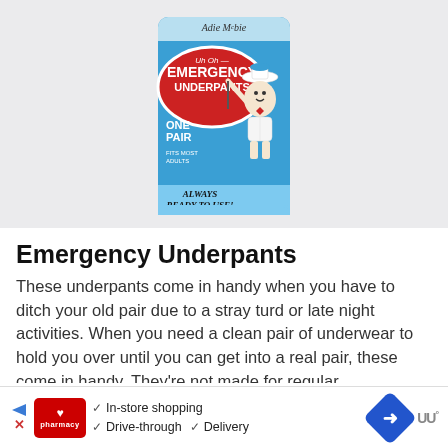[Figure (photo): Product photo of 'Emergency Underpants' in a blue tin/can. The can has a red oval with 'Uh Oh... EMERGENCY UNDERPANTS' text, 'ONE PAIR', 'FITS MOST ADULTS', and 'ALWAYS READY TO USE!' with a cartoon character of a man in white underwear and sailor hat.]
Emergency Underpants
These underpants come in handy when you have to ditch your old pair due to a stray turd or late night activities. When you need a clean pair of underwear to hold you over until you can get into a real pair, these come in handy. They're not made for regular
[Figure (advertisement): CVS Pharmacy advertisement banner with in-store shopping, drive-through, and delivery options, plus map/navigation icons.]